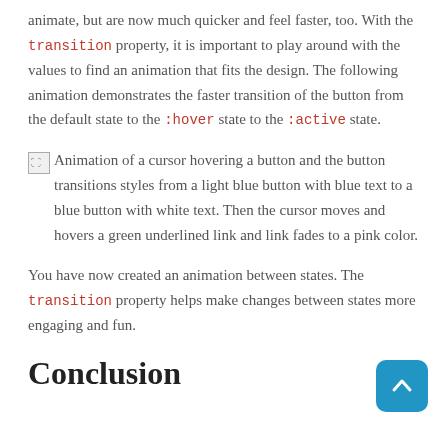animate, but are now much quicker and feel faster, too. With the transition property, it is important to play around with the values to find an animation that fits the design. The following animation demonstrates the faster transition of the button from the default state to the :hover state to the :active state.
Animation of a cursor hovering a button and the button transitions styles from a light blue button with blue text to a blue button with white text. Then the cursor moves and hovers a green underlined link and link fades to a pink color.
You have now created an animation between states. The transition property helps make changes between states more engaging and fun.
Conclusion